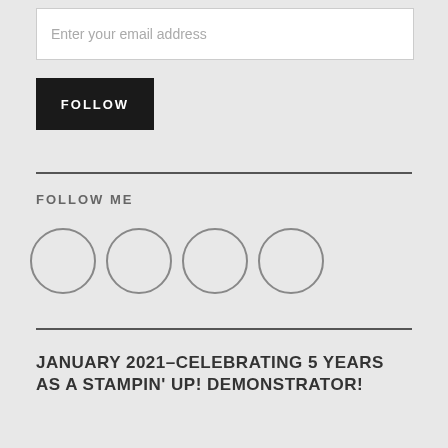Enter your email address
FOLLOW
FOLLOW ME
[Figure (illustration): Four circular social media icon buttons in a row]
JANUARY 2021–CELEBRATING 5 YEARS AS A STAMPIN' UP! DEMONSTRATOR!